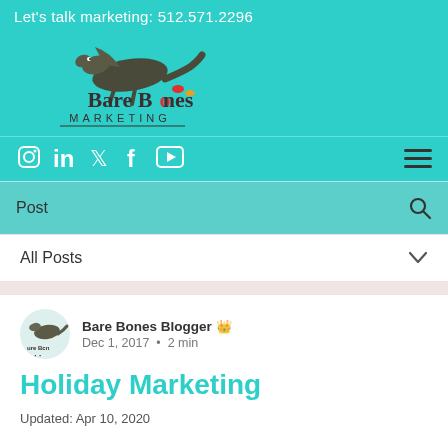Let's talk marketing: 512.571.2296
[Figure (logo): Bare Bones Marketing logo with dinosaur/lizard illustration above the text, set on teal background]
Social media icons: Instagram, LinkedIn, Twitter, Facebook, YouTube; hamburger menu icon
Post
All Posts
Bare Bones Blogger  Dec 1, 2017  •  2 min
Holiday Marketing
Updated: Apr 10, 2020